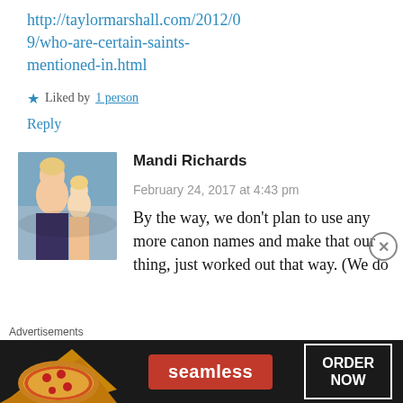http://taylormarshall.com/2012/09/who-are-certain-saints-mentioned-in.html
★ Liked by 1 person
Reply
[Figure (photo): Avatar photo of Mandi Richards — a woman with a young child]
Mandi Richards
February 24, 2017 at 4:43 pm
By the way, we don't plan to use any more canon names and make that our thing, just worked out that way. (We do
[Figure (infographic): Seamless food delivery advertisement banner with pizza image, Seamless logo, and ORDER NOW button]
Advertisements